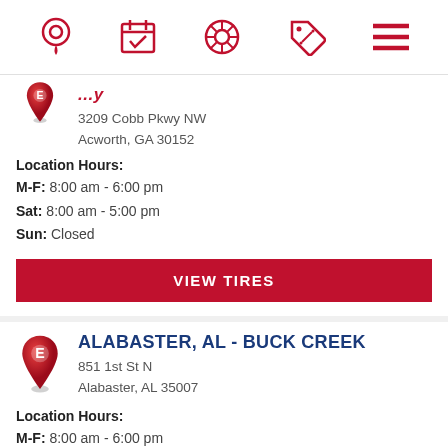Navigation icons: location pin, calendar/appointment, tire, discount tag, menu
3209 Cobb Pkwy NW
Acworth, GA 30152
Location Hours:
M-F: 8:00 am - 6:00 pm
Sat: 8:00 am - 5:00 pm
Sun: Closed
VIEW TIRES
ALABASTER, AL - BUCK CREEK
851 1st St N
Alabaster, AL 35007
Location Hours:
M-F: 8:00 am - 6:00 pm
Sat: 9:00 am - 5:00 pm